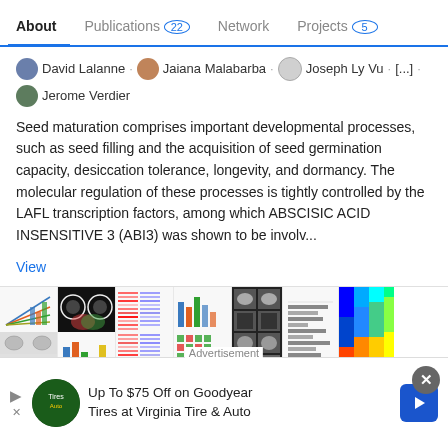About  Publications 22  Network  Projects 5
David Lalanne · Jaiana Malabarba · Joseph Ly Vu · [...] · Jerome Verdier
Seed maturation comprises important developmental processes, such as seed filling and the acquisition of seed germination capacity, desiccation tolerance, longevity, and dormancy. The molecular regulation of these processes is tightly controlled by the LAFL transcription factors, among which ABSCISIC ACID INSENSITIVE 3 (ABI3) was shown to be involv...
View
[Figure (other): Row of scientific figures from a paper: line charts, microscopy images, bar charts, Venn diagrams, heatmaps, and other research figures.]
Regulation of DNA (de)Methylation Positively Impacts Seed
Advertisement: Up To $75 Off on Goodyear Tires at Virginia Tire & Auto